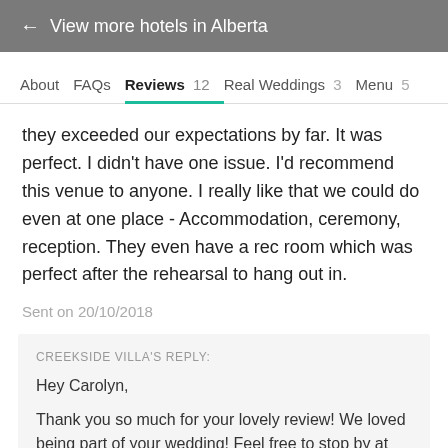← View more hotels in Alberta
About  FAQs  Reviews 12  Real Weddings 3  Menu 5
they exceeded our expectations by far. It was perfect. I didn't have one issue. I'd recommend this venue to anyone. I really like that we could do even at one place - Accommodation, ceremony, reception. They even have a rec room which was perfect after the rehearsal to hang out in.
Sent on 20/10/2018
CREEKSIDE VILLA'S REPLY:
Hey Carolyn,

Thank you so much for your lovely review! We loved being part of your wedding! Feel free to stop by at any time.